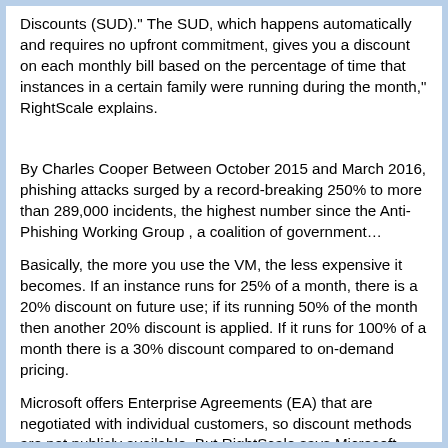Discounts (SUD). "The SUD, which happens automatically and requires no upfront commitment, gives you a discount on each monthly bill based on the percentage of time that instances in a certain family were running during the month," RightScale explains.
By Charles Cooper Between October 2015 and March 2016, phishing attacks surged by a record-breaking 250% to more than 289,000 incidents, the highest number since the Anti-Phishing Working Group , a coalition of government…
Basically, the more you use the VM, the less expensive it becomes. If an instance runs for 25% of a month, there is a 20% discount on future use; if its running 50% of the month then another 20% discount is applied. If it runs for 100% of a month there is a 30% discount compared to on-demand pricing.
Microsoft offers Enterprise Agreements (EA) that are negotiated with individual customers, so discount methods are not publicly available. But RightScale says Microsoft sales reps provide significant discounts for long-term usage